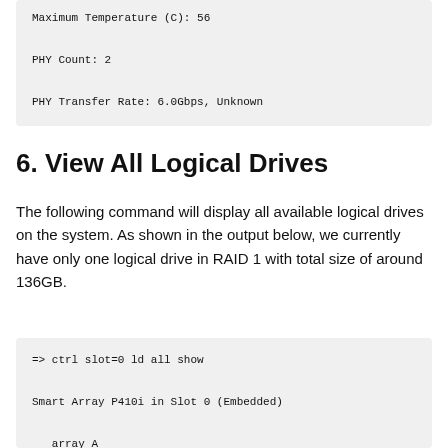Maximum Temperature (C): 56
PHY Count: 2
PHY Transfer Rate: 6.0Gbps, Unknown
6. View All Logical Drives
The following command will display all available logical drives on the system. As shown in the output below, we currently have only one logical drive in RAID 1 with total size of around 136GB.
=> ctrl slot=0 ld all show

Smart Array P410i in Slot 0 (Embedded)

   array A